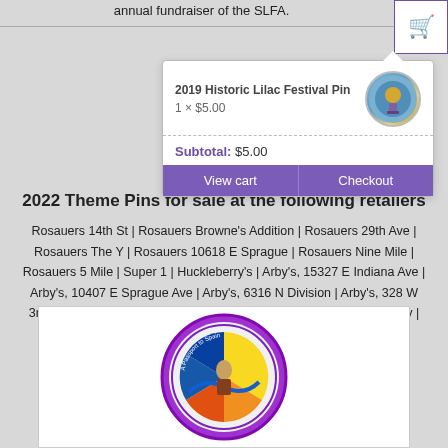annual fundraiser of the SLFA.
[Figure (screenshot): Shopping cart dropdown popup showing '2019 Historic Lilac Festival Pin, 1 × $5.00' with a circular pin image, subtotal of $5.00, and View cart / Checkout buttons in purple]
2022 Theme Pins for sale at the following retailers
Rosauers 14th St | Rosauers Browne's Addition | Rosauers 29th Ave | Rosauers The Y | Rosauers 10618 E Sprague | Rosauers Nine Mile | Rosauers 5 Mile | Super 1 | Huckleberry's | Arby's, 15327 E Indiana Ave | Arby's, 10407 E Sprague Ave | Arby's, 6316 N Division | Arby's, 328 W 3rd Ave | Longhorn BBQ, Airway Heights | Flying J, 6606 E Broadway | Frankie Doodles, 30 E 3rd | Downtown Holiday Inn Express, 801 N Division
[Figure (photo): Circular colorful festival pin with purple border, orange/yellow/blue design with text around the edge and figure in the center]